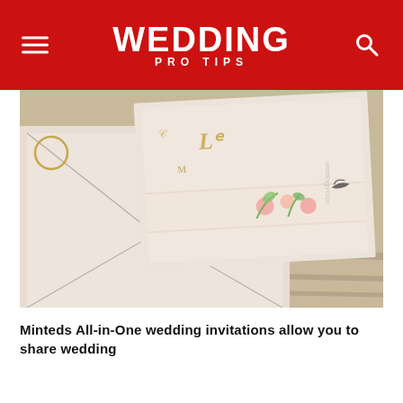WEDDING PRO TIPS
[Figure (photo): Close-up photo of wedding invitation suite with envelopes laid on a wooden surface. The invitations are blush/cream colored with gold foil lettering and floral accents in pink and green.]
Minteds All-in-One wedding invitations allow you to share wedding